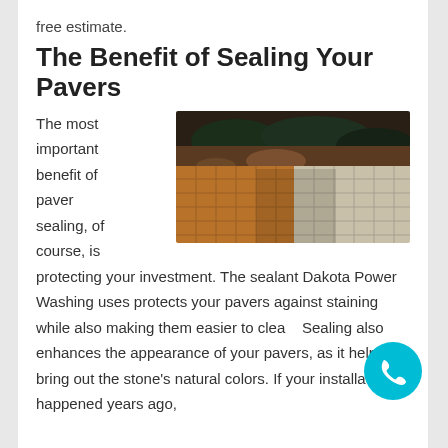free estimate.
The Benefit of Sealing Your Pavers
[Figure (photo): Photo of paver stones showing before and after sealing — left side shows warm golden-orange sealed pavers, right side shows lighter unsealed pavers, with desert landscaping in the background.]
The most important benefit of paver sealing, of course, is protecting your investment. The sealant Dakota Power Washing uses protects your pavers against staining while also making them easier to clean. Sealing also enhances the appearance of your pavers, as it helps bring out the stone's natural colors. If your installation happened years ago,